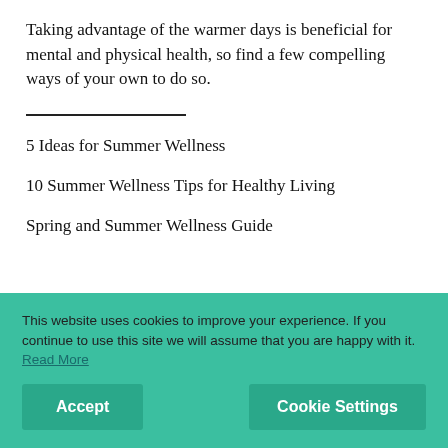Taking advantage of the warmer days is beneficial for mental and physical health, so find a few compelling ways of your own to do so.
5 Ideas for Summer Wellness
10 Summer Wellness Tips for Healthy Living
Spring and Summer Wellness Guide
This website uses cookies to improve your experience. If you continue to use this site we will assume that you are happy with it. Read More
Accept
Cookie Settings